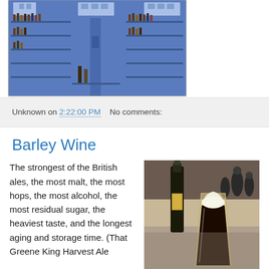[Figure (photo): Interior of a blue bar/cabinet filled with bottles of alcohol on shelves, viewed from the front showing two side panels and a center, with windows along the top.]
Unknown on 2:22:00 PM   No comments:
Barley Wine
The strongest of the British ales, the most malt, the most hops, the most alcohol, the most residual sugar, the heaviest taste, and the longest aging and storage time. (That Greene King Harvest Ale
[Figure (photo): A dark beer bottle and a glass of dark stout beer with a foamy head, placed on a table in a bar or restaurant setting.]